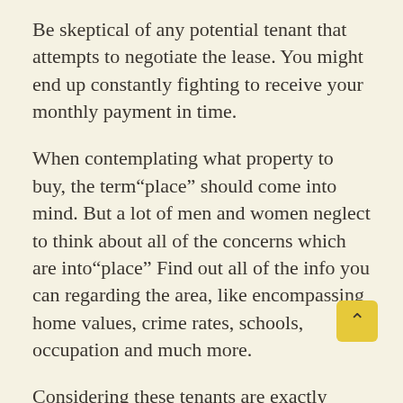Be skeptical of any potential tenant that attempts to negotiate the lease. You might end up constantly fighting to receive your monthly payment in time.
When contemplating what property to buy, the term“place” should come into mind. But a lot of men and women neglect to think about all of the concerns which are into“place” Find out all of the info you can regarding the area, like encompassing home values, crime rates, schools, occupation and much more.
Considering these tenants are exactly what basically pays your mortgage, it’s necessary that these individuals have a great credit standing